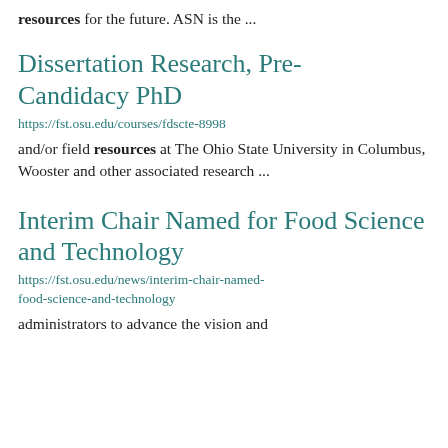resources for the future. ASN is the ...
Dissertation Research, Pre-Candidacy PhD
https://fst.osu.edu/courses/fdscte-8998
and/or field resources at The Ohio State University in Columbus, Wooster and other associated research ...
Interim Chair Named for Food Science and Technology
https://fst.osu.edu/news/interim-chair-named-food-science-and-technology
administrators to advance the vision and